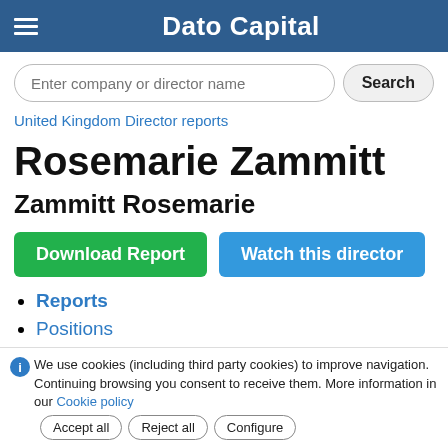Dato Capital
Enter company or director name
United Kingdom Director reports
Rosemarie Zammitt
Zammitt Rosemarie
Download Report
Watch this director
Reports
Positions
Charts
Business areas
We use cookies (including third party cookies) to improve navigation. Continuing browsing you consent to receive them. More information in our Cookie policy  Accept all  Reject all  Configure